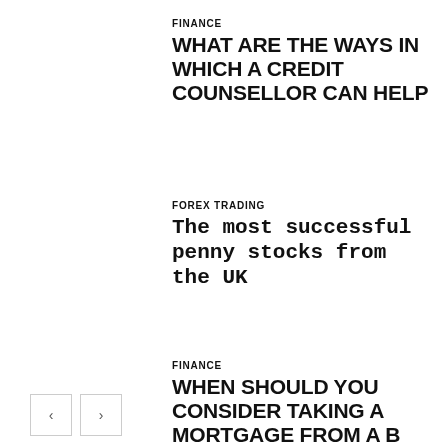FINANCE
WHAT ARE THE WAYS IN WHICH A CREDIT COUNSELLOR CAN HELP
FOREX TRADING
The most successful penny stocks from the UK
FINANCE
WHEN SHOULD YOU CONSIDER TAKING A MORTGAGE FROM A B LENDER?